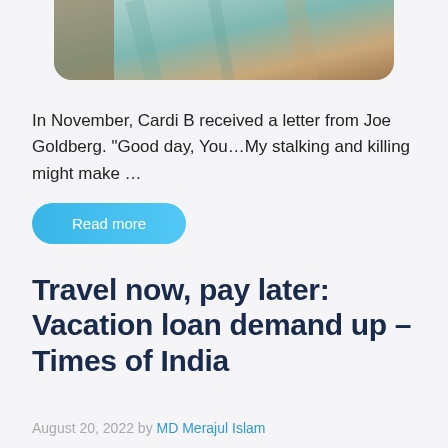[Figure (photo): Partial photo of a person wearing a light mint/teal sweatshirt, cropped at top of page]
In November, Cardi B received a letter from Joe Goldberg. “Good day, You…My stalking and killing might make …
Read more
Travel now, pay later: Vacation loan demand up – Times of India
August 20, 2022 by MD Merajul Islam